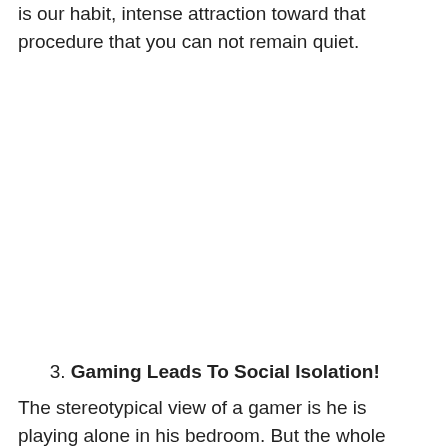is our habit, intense attraction toward that procedure that you can not remain quiet.
3. Gaming Leads To Social Isolation!
The stereotypical view of a gamer is he is playing alone in his bedroom. But the whole scenario is not like that. At the